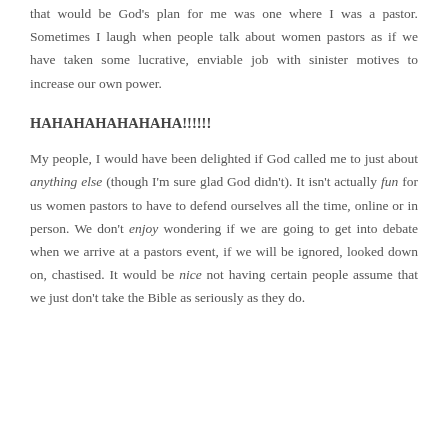that would be God's plan for me was one where I was a pastor. Sometimes I laugh when people talk about women pastors as if we have taken some lucrative, enviable job with sinister motives to increase our own power.
HAHAHAHAHAHAHA!!!!!!
My people, I would have been delighted if God called me to just about anything else (though I'm sure glad God didn't). It isn't actually fun for us women pastors to have to defend ourselves all the time, online or in person. We don't enjoy wondering if we are going to get into debate when we arrive at a pastors event, if we will be ignored, looked down on, chastised. It would be nice not having certain people assume that we just don't take the Bible as seriously as they do.